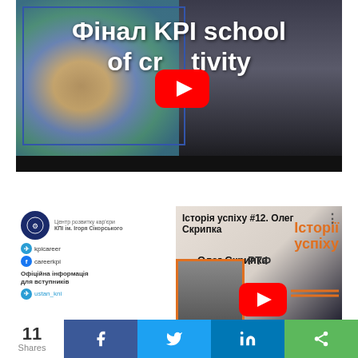[Figure (screenshot): YouTube video thumbnail for 'Фінал KPI school of creativity' showing a brain illustration with colorful half and dark half, with YouTube play button overlay and text overlay]
[Figure (screenshot): YouTube video thumbnail for 'Історія успіху #12. Олег Скрипка' showing KPI career center branding, Oleg Skrypka photo, his name and title 'Музикант', faculty 'РТФ', and 'Історії успіху' branding with YouTube play button]
11 Shares